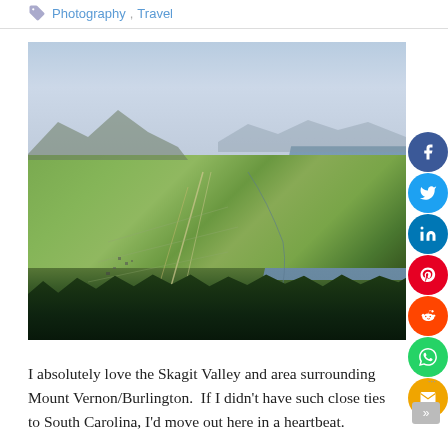Photography, Travel
[Figure (photo): Aerial view of Skagit Valley near Mount Vernon/Burlington, Washington, showing green agricultural fields, a bay or river with grey-blue water, forested hillside in foreground, and overcast sky with mountains in the distance.]
I absolutely love the Skagit Valley and area surrounding Mount Vernon/Burlington.  If I didn't have such close ties to South Carolina, I'd move out here in a heartbeat.